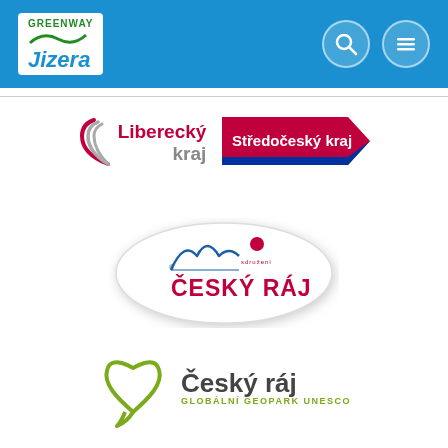[Figure (logo): Header bar with Greenway Jizera logo on the left and search/menu icons on the right, blue background]
[Figure (logo): Liberecký kraj regional logo with red curved lines and red/grey text]
[Figure (logo): Středočeský kraj logo with red banner and blue accent]
[Figure (logo): Český ráj association logo in white oval with mountain silhouette]
[Figure (logo): Český ráj Globální Geopark UNESCO logo with green heart/speech bubble shape]